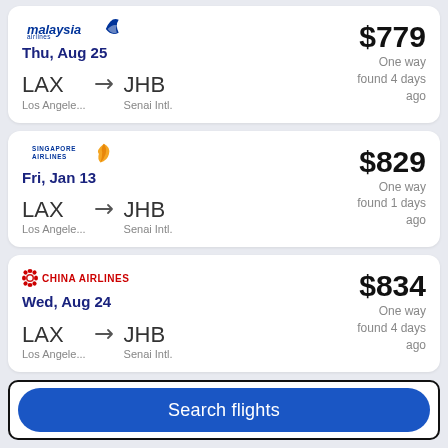Malaysia Airlines | Thu, Aug 25 | LAX Los Angele... → JHB Senai Intl. | $779 One way found 4 days ago
Singapore Airlines | Fri, Jan 13 | LAX Los Angele... → JHB Senai Intl. | $829 One way found 1 days ago
China Airlines | Wed, Aug 24 | LAX Los Angele... → JHB Senai Intl. | $834 One way found 4 days ago
Search flights